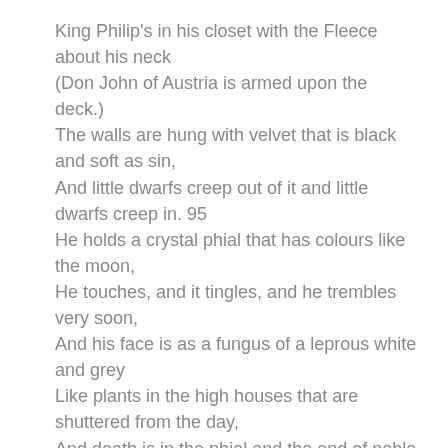King Philip's in his closet with the Fleece about his neck
(Don John of Austria is armed upon the deck.)
The walls are hung with velvet that is black and soft as sin,
And little dwarfs creep out of it and little dwarfs creep in. 95
He holds a crystal phial that has colours like the moon,
He touches, and it tingles, and he trembles very soon,
And his face is as a fungus of a leprous white and grey
Like plants in the high houses that are shuttered from the day,
And death is in the phial and the end of noble work, 100
But Don John of Austria has fired upon the Turk.
Don John's hunting, and his hounds have bayed —
Booms away past Italy the rumour of his raid.